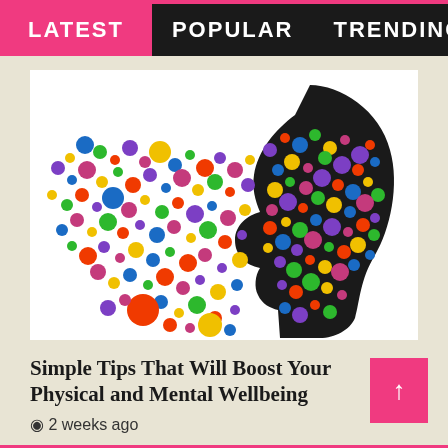LATEST   POPULAR   TRENDING
[Figure (illustration): Colorful side profile silhouette of a human head made up of many multicolored dots/circles scattered and dispersing to the left side, representing mental and physical wellbeing]
Simple Tips That Will Boost Your Physical and Mental Wellbeing
2 weeks ago